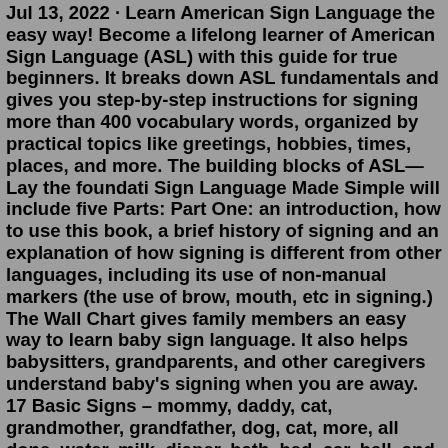Jul 13, 2022 · Learn American Sign Language the easy way! Become a lifelong learner of American Sign Language (ASL) with this guide for true beginners. It breaks down ASL fundamentals and gives you step-by-step instructions for signing more than 400 vocabulary words, organized by practical topics like greetings, hobbies, times, places, and more. The building blocks of ASL—Lay the foundati Sign Language Made Simple will include five Parts: Part One: an introduction, how to use this book, a brief history of signing and an explanation of how signing is different from other languages, including its use of non-manual markers (the use of brow, mouth, etc in signing.) The Wall Chart gives family members an easy way to learn baby sign language. It also helps babysitters, grandparents, and other caregivers understand baby's signing when you are away. 17 Basic Signs – mommy, daddy, cat, grandmother, grandfather, dog, cat, more, all done, water, milk, diaper, bath, bed, car, ball, and book. COUPON: RENT Sign Language Made Simple 1st edition